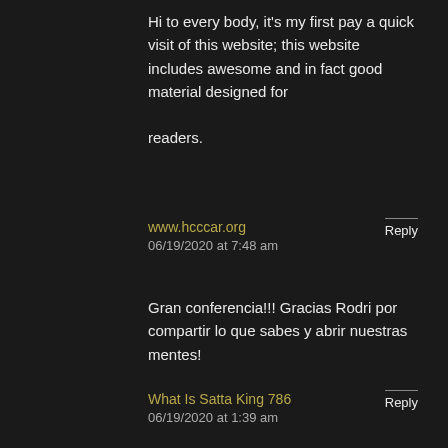Hi to every body, it's my first pay a quick visit of this website; this website includes awesome and in fact good material designed for readers.
www.hcccar.org
06/19/2020 at 7:48 am
Reply
Gran conferencia!!! Gracias Rodri por compartir lo que sabes y abrir nuestras mentes!
What Is Satta King 786
06/19/2020 at 1:39 am
Reply